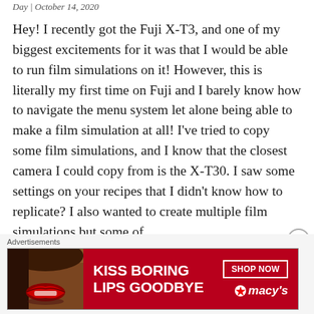Day | October 14, 2020
Hey! I recently got the Fuji X-T3, and one of my biggest excitements for it was that I would be able to run film simulations on it! However, this is literally my first time on Fuji and I barely know how to navigate the menu system let alone being able to make a film simulation at all! I've tried to copy some film simulations, and I know that the closest camera I could copy from is the X-T30. I saw some settings on your recipes that I didn't know how to replicate? I also wanted to create multiple film simulations but some of
[Figure (infographic): Advertisement banner for Macy's lipstick: 'KISS BORING LIPS GOODBYE' with SHOP NOW button and Macy's star logo, red background with close-up of woman's lips]
Advertisements